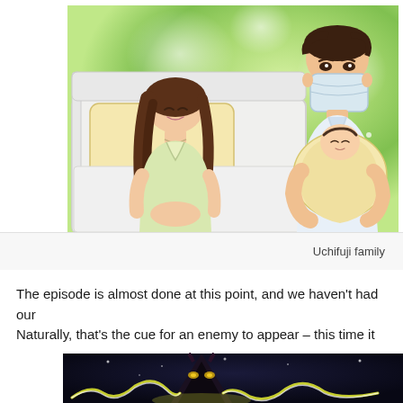[Figure (illustration): Anime illustration of a woman lying in a hospital bed smiling, and a man wearing a surgical mask holding a newborn baby wrapped in a blanket, set against a soft green glowing background. This is the Uchifuji family scene.]
Uchifuji family
The episode is almost done at this point, and we haven't had our Naturally, that's the cue for an enemy to appear – this time it is
[Figure (illustration): Anime illustration of a dark triangular villain figure with glowing eyes, surrounded by lightning bolts against a dark night sky background.]